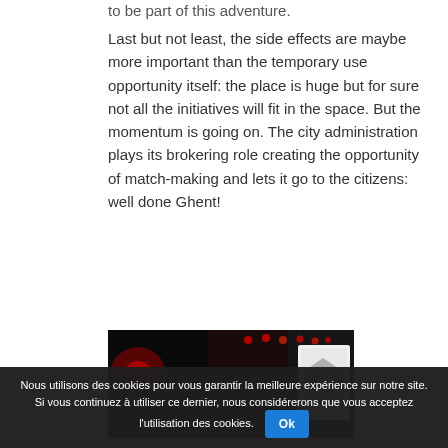to be part of this adventure.
Last but not least, the side effects are maybe more important than the temporary use opportunity itself: the place is huge but for sure not all the initiatives will fit in the space. But the momentum is going on. The city administration plays its brokering role creating the opportunity of match-making and lets it go to the citizens: well done Ghent!
[Figure (photo): Dark indoor venue with red and white stage lights visible, a bright screen/display on the right side showing a building image.]
Nous utilisons des cookies pour vous garantir la meilleure expérience sur notre site. Si vous continuez à utiliser ce dernier, nous considérerons que vous acceptez l'utilisation des cookies. Ok